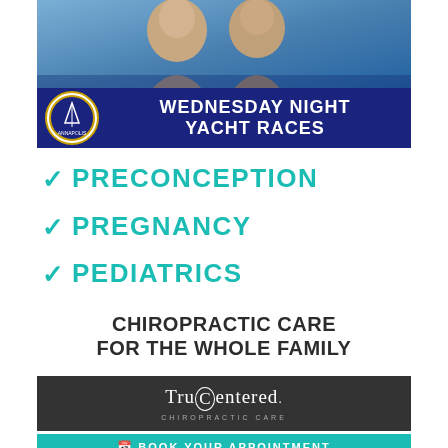[Figure (photo): Photo of two smiling women with a blue navy banner for Wednesday Night Yacht Races, Annapolis Maritime Museum]
✓ PRECONCEPTION
✓ PREGNANCY
✓ PEDIATRICS
CHIROPRACTIC CARE FOR THE WHOLE FAMILY
[Figure (logo): TruCentered Chiropractic Care logo on dark background]
BOOK YOUR APPOINTMENT